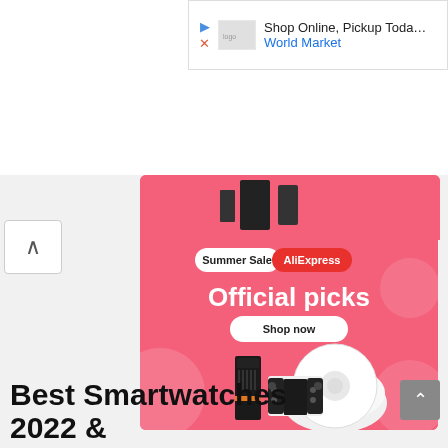[Figure (screenshot): Ad banner: Shop Online, Pickup Today - World Market]
[Figure (screenshot): Partial pink AliExpress banner top]
[Figure (infographic): AliExpress Summer Sale banner with 'Official picks' headline, 'Shop now' button, and product images of robot vacuum, gaming device, and Nintendo Switch]
Best Smartwatches 2022 &